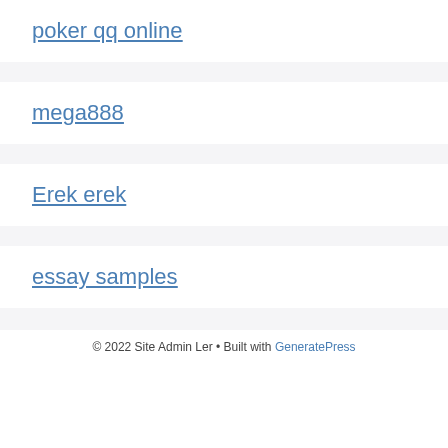poker qq online
mega888
Erek erek
essay samples
© 2022 Site Admin Ler • Built with GeneratePress